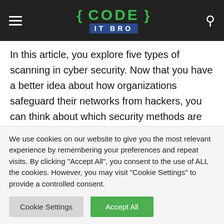{ CODE } IT BRO
In this article, you explore five types of scanning in cyber security. Now that you have a better idea about how organizations safeguard their networks from hackers, you can think about which security methods are best to implement in your company. We hope that the details found throughout our post have helped you to feel more assured about the main types of cybersecurity scanning
We use cookies on our website to give you the most relevant experience by remembering your preferences and repeat visits. By clicking "Accept All", you consent to the use of ALL the cookies. However, you may visit "Cookie Settings" to provide a controlled consent.